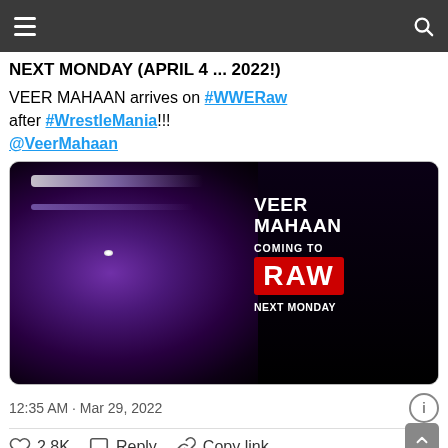NEXT MONDAY (APRIL 4 ... 2022!)
VEER MAHAAN arrives on #WWERaw after #WrestleMania!!! @VeerMahaan
[Figure (photo): Promotional image of Veer Mahaan with dark purple/violet dramatic lighting showing his face, with white text overlay reading 'VEER MAHAAN COMING TO RAW NEXT MONDAY']
12:35 AM · Mar 29, 2022
2.8K  Reply  Copy link